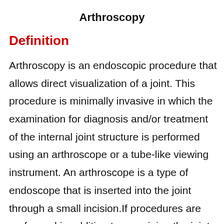Arthroscopy
Definition
Arthroscopy is an endoscopic procedure that allows direct visualization of a joint. This procedure is minimally invasive in which the examination for diagnosis and/or treatment of the internal joint structure is performed using an arthroscope or a tube-like viewing instrument. An arthroscope is a type of endoscope that is inserted into the joint through a small incision.If procedures are performed in addition to examining the joint with arthroscope the procedure is now called arthroscopic surgery. A procedure done arthroscopically instead of by